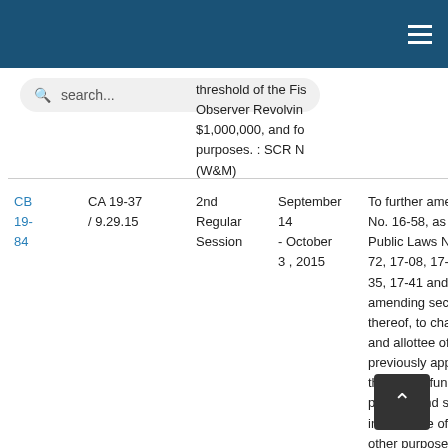Navigation bar with search and hamburger menu
threshold of the Fish Observer Revolving $1,000,000, and for purposes. : SCR N (W&M)
| Link | Bill | Session | Date | Description |
| --- | --- | --- | --- | --- |
| CB 19-84 | CA 19-37 / 9.29.15 | 2nd Regular Session | September 14 - October 3, 2015 | To further amend Public Law No. 16-58, as amended by Public Laws Nos. 1... 72, 17-08, 17-11, 1... 35, 17-41 and 18-7... amending sections thereof, to change and allottee of cert... previously appropr... therein, to fund pu... projects and social in the State of Chu... other purposes. : W... |